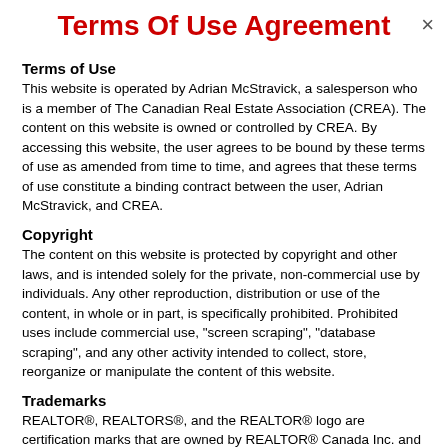Terms Of Use Agreement
Terms of Use
This website is operated by Adrian McStravick, a salesperson who is a member of The Canadian Real Estate Association (CREA). The content on this website is owned or controlled by CREA. By accessing this website, the user agrees to be bound by these terms of use as amended from time to time, and agrees that these terms of use constitute a binding contract between the user, Adrian McStravick, and CREA.
Copyright
The content on this website is protected by copyright and other laws, and is intended solely for the private, non-commercial use by individuals. Any other reproduction, distribution or use of the content, in whole or in part, is specifically prohibited. Prohibited uses include commercial use, "screen scraping", "database scraping", and any other activity intended to collect, store, reorganize or manipulate the content of this website.
Trademarks
REALTOR®, REALTORS®, and the REALTOR® logo are certification marks that are owned by REALTOR® Canada Inc. and licensed exclusively to The Canadian Real Estate Association (CREA). These certification marks identify real estate professionals who are members of CREA and who must abide by CREA's By-Laws, Rules, and the REALTOR® Code. The MLS® trademark and the MLS® logo are owned by CREA and identify the professional real estate services provided by